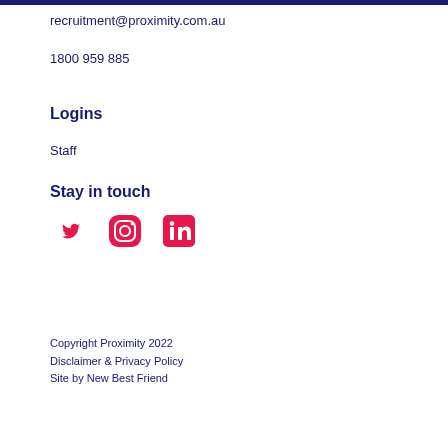recruitment@proximity.com.au
1800 959 885
Logins
Staff
Stay in touch
[Figure (illustration): Three social media icons: Twitter (bird), Instagram (camera), LinkedIn (in logo) — all in pink/red color]
Copyright Proximity 2022
Disclaimer & Privacy Policy
Site by New Best Friend